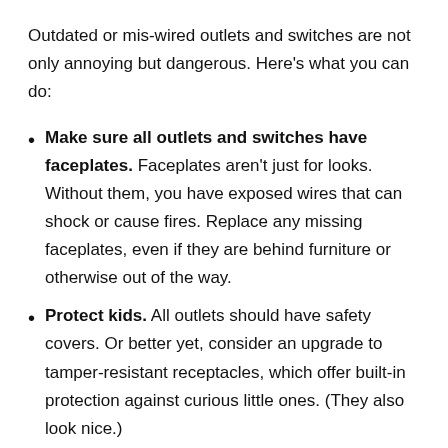Outdated or mis-wired outlets and switches are not only annoying but dangerous. Here's what you can do:
Make sure all outlets and switches have faceplates. Faceplates aren't just for looks. Without them, you have exposed wires that can shock or cause fires. Replace any missing faceplates, even if they are behind furniture or otherwise out of the way.
Protect kids. All outlets should have safety covers. Or better yet, consider an upgrade to tamper-resistant receptacles, which offer built-in protection against curious little ones. (They also look nice.)